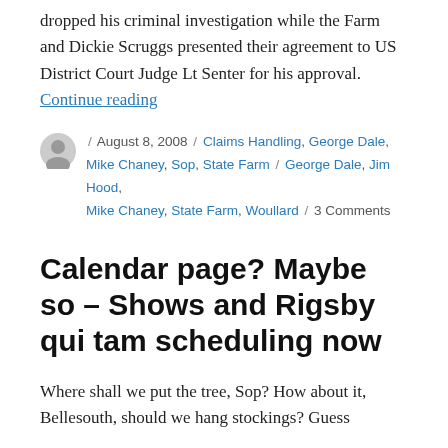dropped his criminal investigation while the Farm and Dickie Scruggs presented their agreement to US District Court Judge Lt Senter for his approval. Continue reading
August 8, 2008 / Claims Handling, George Dale, Mike Chaney, Sop, State Farm / George Dale, Jim Hood, Mike Chaney, State Farm, Woullard / 3 Comments
Calendar page? Maybe so – Shows and Rigsby qui tam scheduling now
Where shall we put the tree, Sop? How about it, Bellesouth, should we hang stockings? Guess